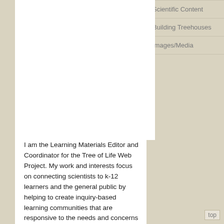Scientific Content
Building Treehouses
Images/Media
[Figure (photo): Large white empty/blank image area in the main content column]
I am the Learning Materials Editor and Coordinator for the Tree of Life Web Project. My work and interests focus on connecting scientists to k-12 learners and the general public by helping to create inquiry-based learning communities that are responsive to the needs and concerns of all members. As the ToL Learning Materials Editor I work with
top